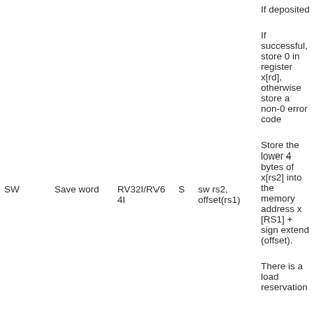|  |  |  |  |  |  |
| --- | --- | --- | --- | --- | --- |
|  |  |  |  |  | If deposited |
|  |  |  |  |  | If successful, store 0 in register x[rd], otherwise store a non-0 error code |
| SW | Save word | RV32I/RV64I | S | sw rs2, offset(rs1) | Store the lower 4 bytes of x[rs2] into the memory address x [RS1] + sign extend (offset). |
|  |  |  |  |  | There is a load reservation |